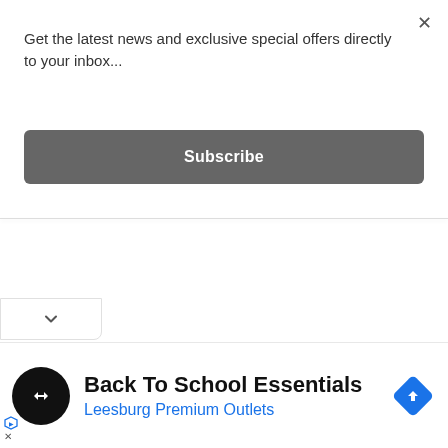×
Get the latest news and exclusive special offers directly to your inbox...
[Figure (other): Subscribe button — dark grey rounded rectangle with white bold text 'Subscribe']
[Figure (other): Chevron/collapse tab at bottom left with a downward-pointing chevron icon]
[Figure (other): Advertisement bar: black circular logo with double-arrow icon, text 'Back To School Essentials' and 'Leesburg Premium Outlets' in blue, blue diamond arrow icon on right, ad attribution labels on left]